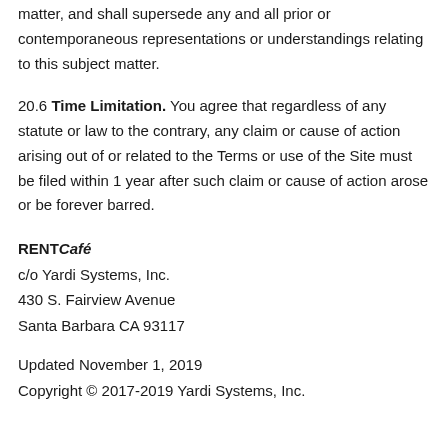matter, and shall supersede any and all prior or contemporaneous representations or understandings relating to this subject matter.
20.6 Time Limitation. You agree that regardless of any statute or law to the contrary, any claim or cause of action arising out of or related to the Terms or use of the Site must be filed within 1 year after such claim or cause of action arose or be forever barred.
RENT Café
c/o Yardi Systems, Inc.
430 S. Fairview Avenue
Santa Barbara CA 93117
Updated November 1, 2019
Copyright © 2017-2019 Yardi Systems, Inc.